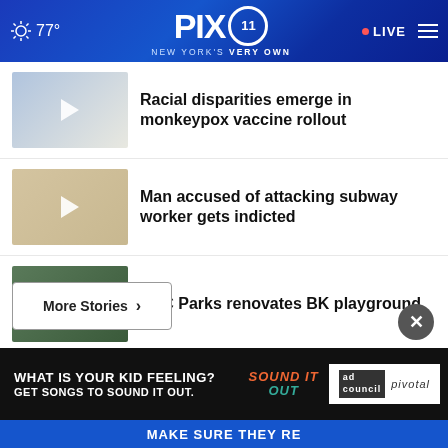PIX 11 NEW YORK'S VERY OWN | 77° | LIVE
Racial disparities emerge in monkeypox vaccine rollout
Man accused of attacking subway worker gets indicted
NYC Parks renovates BK playground
Man fatally shot in the head in the Bronx: NYPD
More Stories ›
[Figure (screenshot): Ad banner: WHAT IS YOUR KID FEELING? GET SONGS TO SOUND IT OUT. Sound It Out. ad council. pivotal.]
MAKE SURE THEY RE